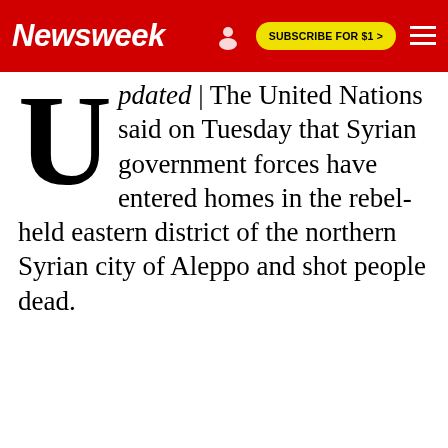Newsweek | SUBSCRIBE FOR $1 >
Updated | The United Nations said on Tuesday that Syrian government forces have entered homes in the rebel-held eastern district of the northern Syrian city of Aleppo and shot people dead.